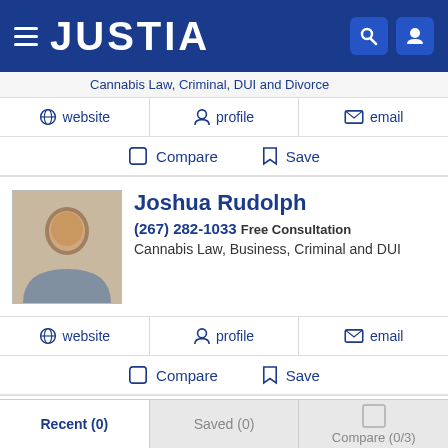JUSTIA
Cannabis Law, Criminal, DUI and Divorce
website  profile  email
Compare  Save
Joshua Rudolph
(267) 282-1033 Free Consultation
Cannabis Law, Business, Criminal and DUI
website  profile  email
Compare  Save
Adam G. Garson
Recent (0)  Saved (0)  Compare (0/3)